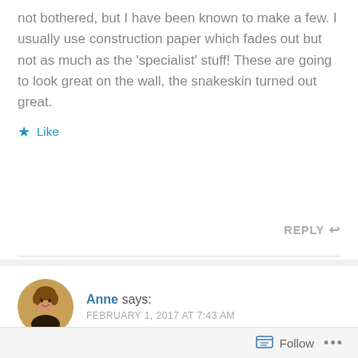not bothered, but I have been known to make a few. I usually use construction paper which fades out but not as much as the 'specialist' stuff! These are going to look great on the wall, the snakeskin turned out great.
★ Like
REPLY ↩
Anne says:
FEBRUARY 1, 2017 AT 7:43 AM
I love how the snakeskin turned out too. I will have a look at the construction paper, I have not heard of it before.
Follow ...